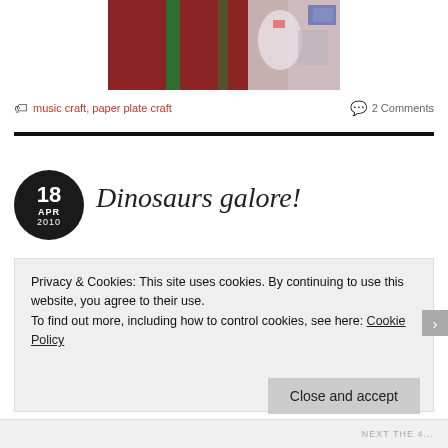[Figure (photo): Partial photo of a child craft activity showing red and green colored paper/plate craft with blue ribbon or fabric]
music craft, paper plate craft    2 Comments
Dinosaurs galore!
Privacy & Cookies: This site uses cookies. By continuing to use this website, you agree to their use.
To find out more, including how to control cookies, see here: Cookie Policy
Close and accept
NEXT THE 4...